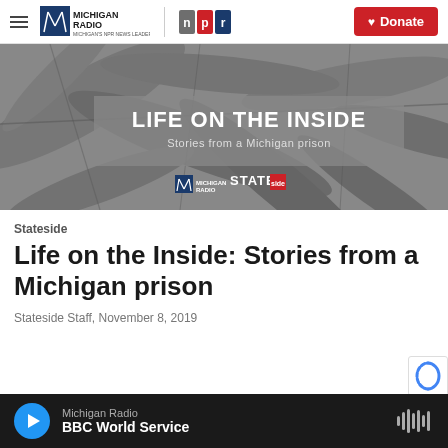Michigan Radio | NPR — Donate
[Figure (illustration): Hero image for 'Life on the Inside: Stories from a Michigan prison' — black and white leaf/nature texture background with gray overlay box containing white bold text 'LIFE ON THE INSIDE' and subtitle 'Stories from a Michigan prison', Michigan Radio and Stateside logos at bottom]
Stateside
Life on the Inside: Stories from a Michigan prison
Stateside Staff, November 8, 2019
Michigan Radio | BBC World Service [audio player]